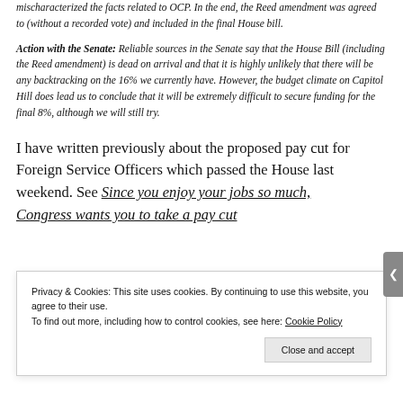mischaracterized the facts related to OCP. In the end, the Reed amendment was agreed to (without a recorded vote) and included in the final House bill.
Action with the Senate: Reliable sources in the Senate say that the House Bill (including the Reed amendment) is dead on arrival and that it is highly unlikely that there will be any backtracking on the 16% we currently have. However, the budget climate on Capitol Hill does lead us to conclude that it will be extremely difficult to secure funding for the final 8%, although we will still try.
I have written previously about the proposed pay cut for Foreign Service Officers which passed the House last weekend. See Since you enjoy your jobs so much, Congress wants you to take a pay cut.
Privacy & Cookies: This site uses cookies. By continuing to use this website, you agree to their use.
To find out more, including how to control cookies, see here: Cookie Policy
Close and accept